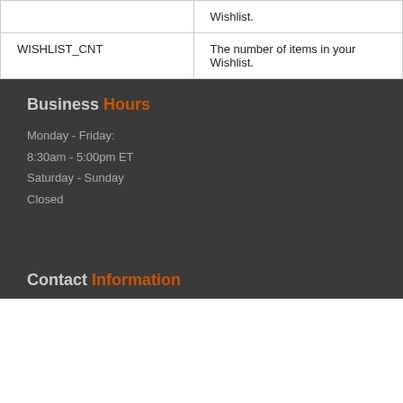|  | Wishlist. |
| WISHLIST_CNT | The number of items in your Wishlist. |
Business Hours
Monday - Friday:
8:30am - 5:00pm ET
Saturday - Sunday
Closed
Contact Information